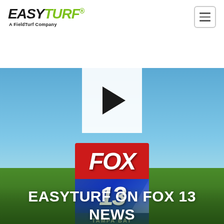EASYTURF® A FieldTurf Company
[Figure (screenshot): Website screenshot showing EasyTurf header with logo and hamburger menu button, followed by a background scene of blue sky and green grass with a video play button overlay and Fox 13 Tampa Bay logo]
EASYTURF ON FOX 13 NEWS